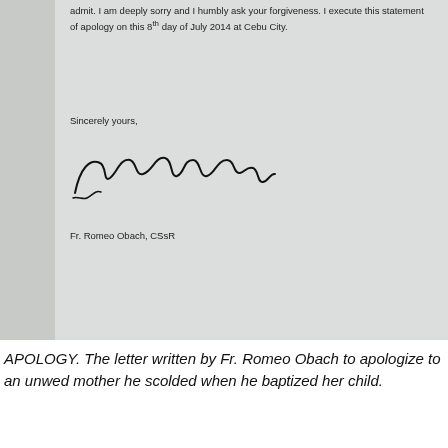[Figure (photo): Photograph of a letter on paper showing the closing of an apology letter, with signature and name 'Fr. Romeo Obach, CSsR'. The visible text reads: 'admit. I am deeply sorry and I humbly ask your forgiveness. I execute this statement of apology on this 8th day of July 2014 at Cebu City.' followed by 'Sincerely yours,' and the signature.]
APOLOGY. The letter written by Fr. Romeo Obach to apologize to an unwed mother he scolded when he baptized her child.